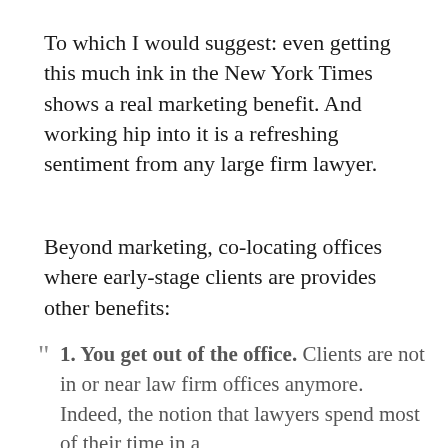To which I would suggest: even getting this much ink in the New York Times shows a real marketing benefit. And working hip into it is a refreshing sentiment from any large firm lawyer.
Beyond marketing, co-locating offices where early-stage clients are provides other benefits:
1. You get out of the office. Clients are not in or near law firm offices anymore. Indeed, the notion that lawyers spend most of their time in a